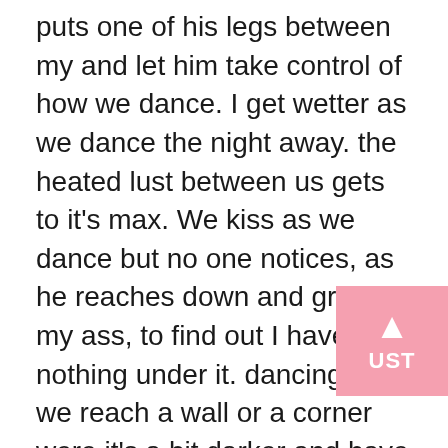puts one of his legs between my and let him take control of how we dance. I get wetter as we dance the night away. the heated lust between us gets to it's max. We kiss as we dance but no one notices, as he reaches down and grab my ass, to find out I have nothing under it. dancing til we reach a wall or a corner were it's a bit darker and have tons of people blocking the way by being drunk. Keep kissing his manly lips as he turns me around and start to lift up my dress a bit. He unzip his pants and I feel his hot hard cock waiting to rip me apart. As he tries to get in my very wet pussy, I bend over a bit to let him in, he pulls me back up as I start to rock into him. Slowly he goes in, feeling his huge rock hard hiltonbet yeni giriş cock entering, gets me high. I start to mo he starts to hold my hips and my arms aroun neck. He starts to fuck me right there and than.